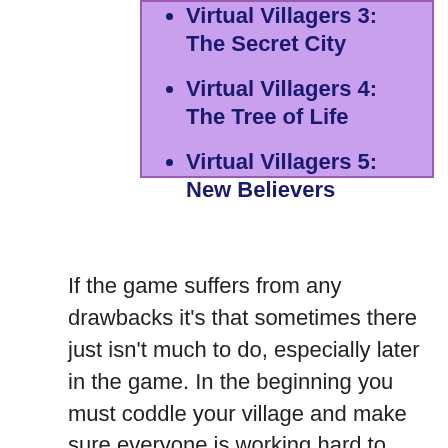Virtual Villagers 3: The Secret City
Virtual Villagers 4: The Tree of Life
Virtual Villagers 5: New Believers
If the game suffers from any drawbacks it's that sometimes there just isn't much to do, especially later in the game. In the beginning you must coddle your village and make sure everyone is working hard to keep the population alive. But as you gain villagers and start farming, it's safe to leave your people alone for days at a time. The occasional random event must be dealt with, but otherwise everything runs smoothly. Of course, if the game required your constant attention